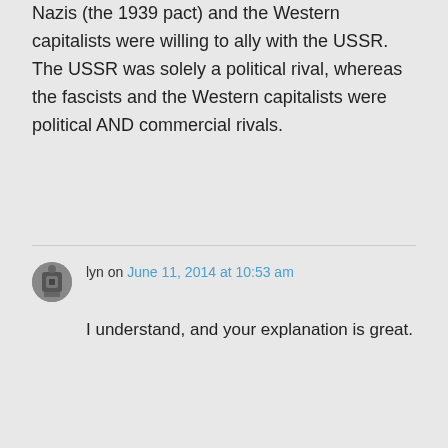Nazis (the 1939 pact) and the Western capitalists were willing to ally with the USSR. The USSR was solely a political rival, whereas the fascists and the Western capitalists were political AND commercial rivals.
lyn on June 11, 2014 at 10:53 am
I understand, and your explanation is great.